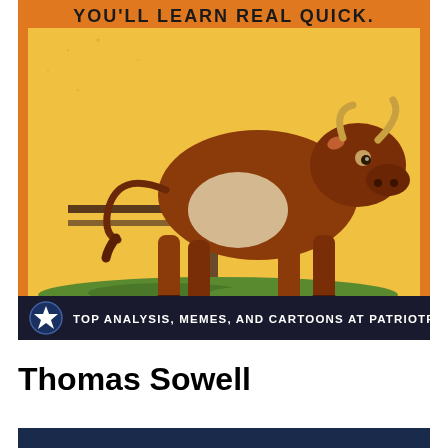[Figure (illustration): A vintage-style illustration of a bull standing near a wooden fence post on a yellow/orange background. At the bottom of the image is a dark banner with a star icon and text reading: TOP ANALYSIS, MEMES, AND CARTOONS AT PATRIOTPOST.US. At the top of the image (partially visible) text reads: YOU'LL LEARN REAL QUICK.]
Thomas Sowell